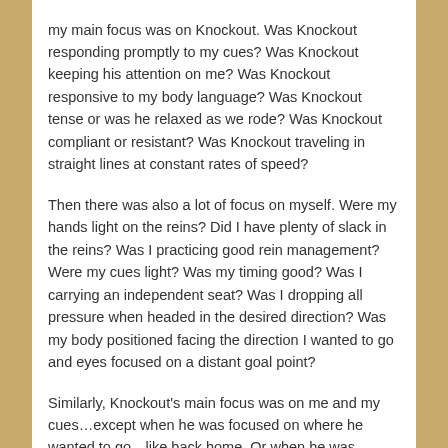my main focus was on Knockout.  Was Knockout responding promptly to my cues?  Was Knockout keeping his attention on me?  Was Knockout responsive to my body language?  Was Knockout tense or was he relaxed as we rode?  Was Knockout compliant or resistant?  Was Knockout traveling in straight lines at constant rates of speed?
Then there was also a lot of focus on myself. Were my hands light on the reins?  Did I have plenty of slack in the reins?  Was I practicing good rein management?  Were my cues light?  Was my timing good?  Was I carrying an independent seat?  Was I dropping all pressure when headed in the desired direction?  Was my body positioned facing the direction I wanted to go and eyes focused on a distant goal point?
Similarly, Knockout's main focus was on me and my cues…except when he was focused on where he wanted to go…like back home. Or when he was focused on what he could startle at…like my helmet brushing a branch as